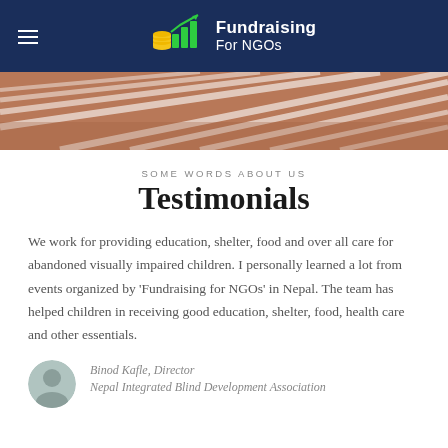Fundraising For NGOs
[Figure (photo): Aerial view of a crowded outdoor area with white canopies or tent structures, reddish-brown ground]
SOME WORDS ABOUT US
Testimonials
We work for providing education, shelter, food and over all care for abandoned visually impaired children. I personally learned a lot from events organized by 'Fundraising for NGOs' in Nepal. The team has helped children in receiving good education, shelter, food, health care and other essentials.
Binod Kafle, Director
Nepal Integrated Blind Development Association